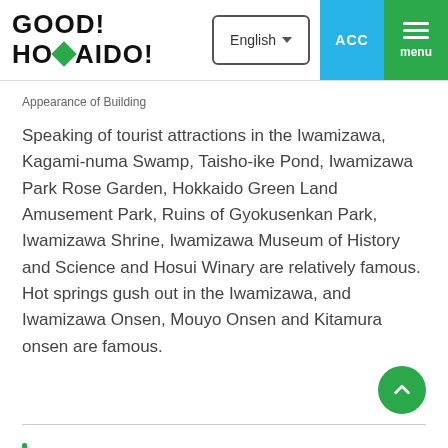GOOD! HOKAIDO! | English | ACC | menu
Appearance of Building
Speaking of tourist attractions in the Iwamizawa, Kagami-numa Swamp, Taisho-ike Pond, Iwamizawa Park Rose Garden, Hokkaido Green Land Amusement Park, Ruins of Gyokusenkan Park, Iwamizawa Shrine, Iwamizawa Museum of History and Science and Hosui Winary are relatively famous. Hot springs gush out in the Iwamizawa, and Iwamizawa Onsen, Mouyo Onsen and Kitamura onsen are famous.
Kitamura Onsen